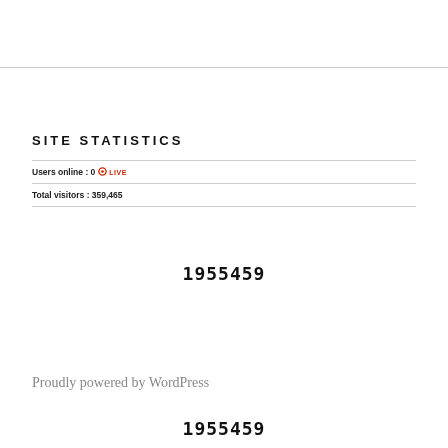SITE STATISTICS
| Users online: 0  LIVE |
| Total visitors : 359,465 |
1955459
Proudly powered by WordPress
1955459